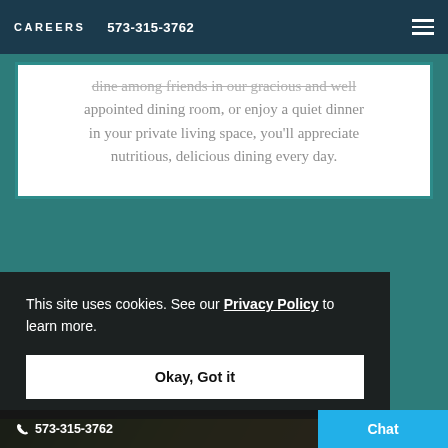CAREERS  573-315-3762
dine among friends in our gracious and well appointed dining room, or enjoy a quiet dinner in your private living space, you'll appreciate nutritious, delicious dining every day.
[Figure (photo): Close-up photo of green leaves and golden/yellow background, blurred, suggesting fresh produce or garden setting]
This site uses cookies. See our Privacy Policy to learn more.
Okay, Got it
Breakfast
573-315-3762  Chat